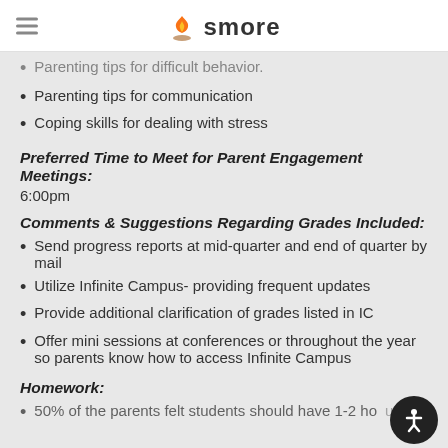smore
Parenting tips for difficult behavior (partial)
Parenting tips for communication
Coping skills for dealing with stress
Preferred Time to Meet for Parent Engagement Meetings:
6:00pm
Comments & Suggestions Regarding Grades Included:
Send progress reports at mid-quarter and end of quarter by mail
Utilize Infinite Campus- providing frequent updates
Provide additional clarification of grades listed in IC
Offer mini sessions at conferences or throughout the year so parents know how to access Infinite Campus
Homework:
50% of the parents felt students should have 1-2 hours of homework per day (partial)